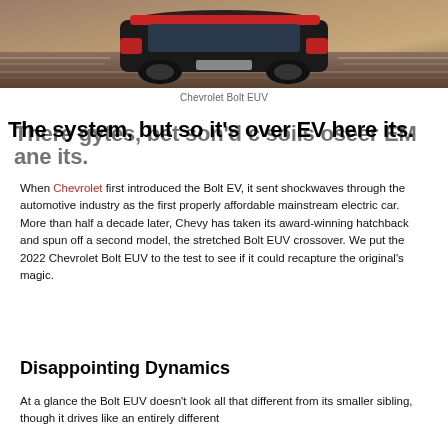[Figure (photo): Rear view of a Chevrolet Bolt EUV (red/dark) driving on a road, motion blur visible]
Chevrolet Bolt EUV
The system, but so it's over EV here its. There gytes, bet son'd c soils oseer EM ane its.
When Chevrolet first introduced the Bolt EV, it sent shockwaves through the automotive industry as the first properly affordable mainstream electric car. More than half a decade later, Chevy has taken its award-winning hatchback and spun off a second model, the stretched Bolt EUV crossover. We put the 2022 Chevrolet Bolt EUV to the test to see if it could recapture the original's magic.
Disappointing Dynamics
At a glance the Bolt EUV doesn't look all that different from its smaller sibling, though it drives like an entirely different